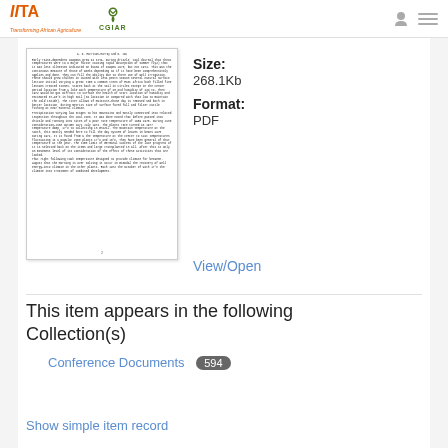IITA / CGIAR — Transforming African Agriculture
[Figure (screenshot): Thumbnail preview of a scanned PDF document page with small text]
Size:
268.1Kb
Format:
PDF
View/Open
This item appears in the following Collection(s)
Conference Documents 594
Show simple item record